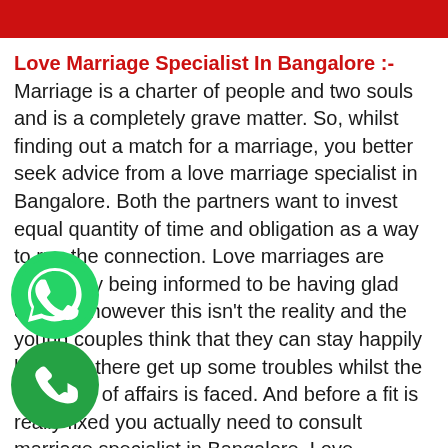[Figure (other): Red banner bar at top of page]
Love Marriage Specialist In Bangalore :-  Marriage is a charter of people and two souls and is a completely grave matter. So, whilst finding out a match for a marriage, you better seek advice from a love marriage specialist in Bangalore. Both the partners want to invest equal quantity of time and obligation as a way to run the connection. Love marriages are reportedly being informed to be having glad endings however this isn't the reality and the young couples think that they can stay happily however there get up some troubles whilst the real state of affairs is faced. And before a fit is really fixed you actually need to consult marriage specialist in Bangalore. Love marriages summons a existence a lifestyles of happiness this is complete of expectations and when you do no longer get something close to it, then the complete hassle starts to start. Within the present
[Figure (logo): WhatsApp green circular icon with phone handset]
[Figure (logo): Green circular phone call icon]